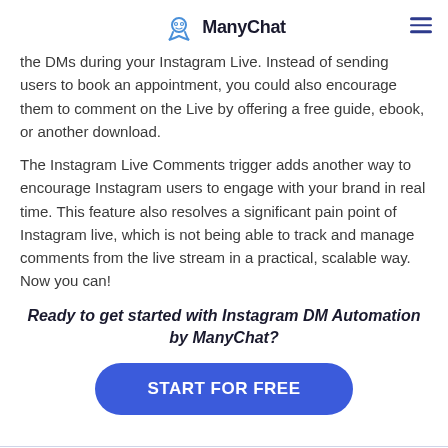ManyChat
the DMs during your Instagram Live. Instead of sending users to book an appointment, you could also encourage them to comment on the Live by offering a free guide, ebook, or another download.
The Instagram Live Comments trigger adds another way to encourage Instagram users to engage with your brand in real time. This feature also resolves a significant pain point of Instagram live, which is not being able to track and manage comments from the live stream in a practical, scalable way. Now you can!
Ready to get started with Instagram DM Automation by ManyChat?
[Figure (other): Blue rounded rectangle button with white text 'START FOR FREE']